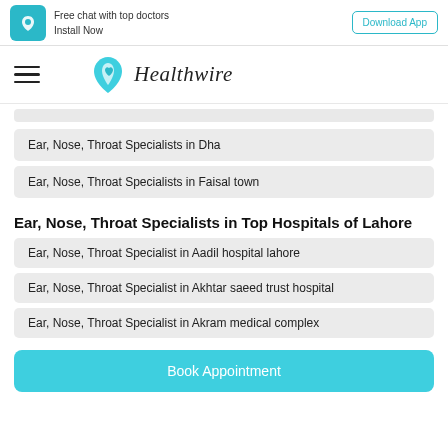[Figure (logo): Healthwire app banner with icon and Download App button]
[Figure (logo): Healthwire logo with teal heart icon and italic text]
Ear, Nose, Throat Specialists in Dha
Ear, Nose, Throat Specialists in Faisal town
Ear, Nose, Throat Specialists in Top Hospitals of Lahore
Ear, Nose, Throat Specialist in Aadil hospital lahore
Ear, Nose, Throat Specialist in Akhtar saeed trust hospital
Ear, Nose, Throat Specialist in Akram medical complex
Book Appointment